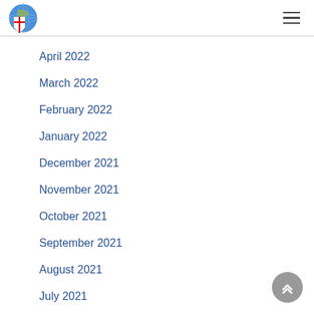Episcopal Church logo and navigation menu
April 2022
March 2022
February 2022
January 2022
December 2021
November 2021
October 2021
September 2021
August 2021
July 2021